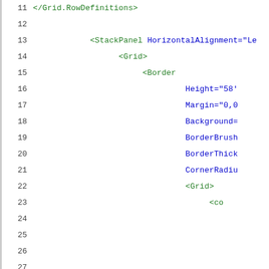[Figure (screenshot): Code editor screenshot showing XML/XAML markup lines 11 through 39. Line numbers are shown in dark gray on the left. XML tags and attributes appear in green and blue monospace font on a white background with a gray left border.]